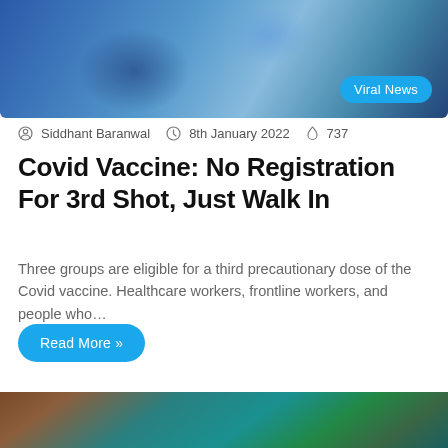[Figure (photo): Close-up photo of gloved hands holding a vaccine vial/syringe with blue medical gloves, with 'Viral News' badge overlay]
Siddhant Baranwal  8th January 2022  737
Covid Vaccine: No Registration For 3rd Shot, Just Walk In
Three groups are eligible for a third precautionary dose of the Covid vaccine. Healthcare workers, frontline workers, and people who…
Read More »
[Figure (photo): Photo of an elderly Indian woman in a blue face mask and saree receiving a vaccination shot in her arm from a gloved healthcare worker]